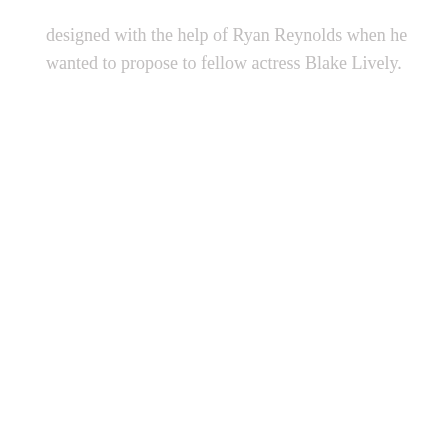designed with the help of Ryan Reynolds when he wanted to propose to fellow actress Blake Lively.
[Figure (other): A loading spinner or circular icon element, partially visible, white/light gray on white background, centered in the lower-middle portion of the page.]